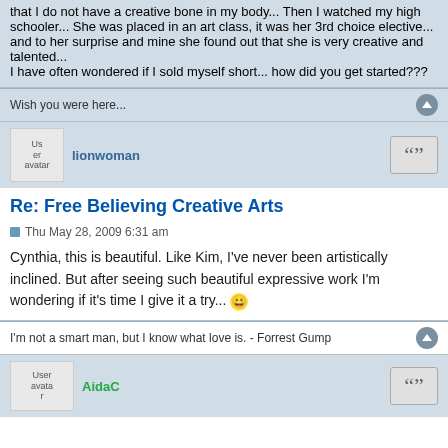that I do not have a creative bone in my body... Then I watched my high schooler... She was placed in an art class, it was her 3rd choice elective... and to her surprise and mine she found out that she is very creative and talented...
I have often wondered if I sold myself short... how did you get started???
Wish you were here...
lionwoman
Re: Free Believing Creative Arts
Thu May 28, 2009 6:31 am
Cynthia, this is beautiful. Like Kim, I've never been artistically inclined. But after seeing such beautiful expressive work I'm wondering if it's time I give it a try... 😀
I'm not a smart man, but I know what love is. - Forrest Gump
AidaC